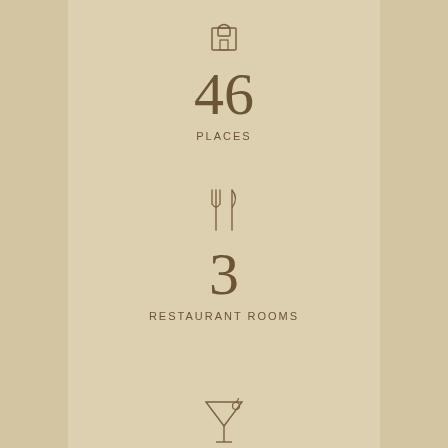[Figure (infographic): Building/hotel icon above the number 46 and label PLACES]
46
PLACES
[Figure (infographic): Fork and knife icon above the number 3 and label RESTAURANT ROOMS]
3
RESTAURANT ROOMS
[Figure (infographic): Cocktail glass icon at bottom of page]